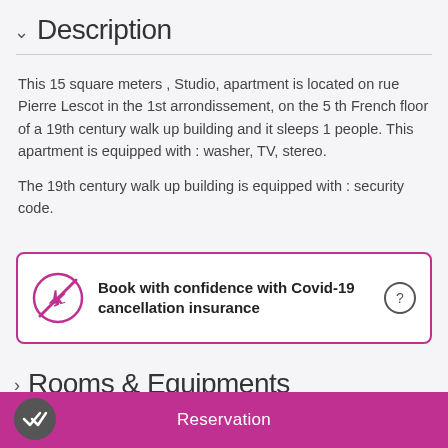Description
This 15 square meters , Studio, apartment is located on rue Pierre Lescot in the 1st arrondissement, on the 5 th French floor of a 19th century walk up building and it sleeps 1 people. This apartment is equipped with : washer, TV, stereo.

The 19th century walk up building is equipped with : security code.
[Figure (infographic): Covid-19 cancellation insurance banner with a no-airplane icon in a pink circle with a strike-through, bold text reading 'Book with confidence with Covid-19 cancellation insurance', and a help circle icon on the right.]
Rooms & Equipments
Reservation